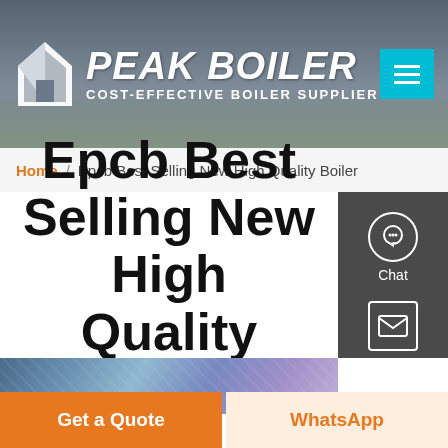[Figure (screenshot): Peak Boiler website header with logo, company name, tagline 'COST-EFFECTIVE BOILER SUPPLIER', and navigation menu button in teal]
Home / Epcb Best Selling New High Quality Boiler
Epcb Best Selling New High Quality Boiler
[Figure (other): Side panel with Chat, Email, and Contact icons]
[Figure (photo): Product image strip showing industrial boiler components]
Get a Quote
WhatsApp